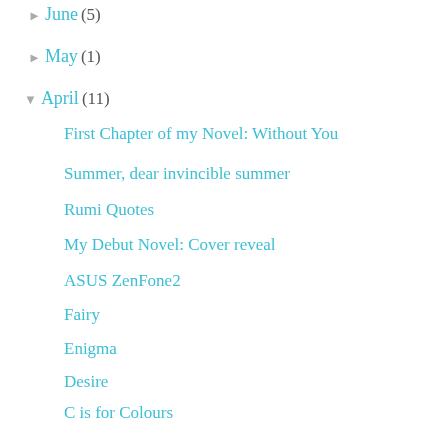► June (5)
► May (1)
▼ April (11)
First Chapter of my Novel: Without You
Summer, dear invincible summer
Rumi Quotes
My Debut Novel: Cover reveal
ASUS ZenFone2
Fairy
Enigma
Desire
C is for Colours
Book Review: Just You, Me and a Secret
Absence is to love what wind is to fire
► March (14)
► February (8)
► January (8)